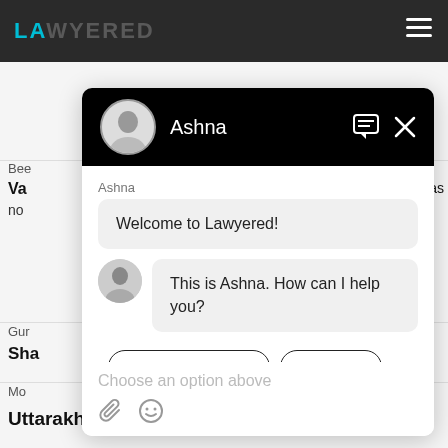[Figure (screenshot): Screenshot of Lawyered website with chat widget overlay. The background shows a dark header with the Lawyered logo and partially visible lawyer listing content. A chat popup is open showing a conversation with 'Ashna', including messages 'Welcome to Lawyered!' and 'This is Ashna. How can I help you?' along with option buttons and a text input area reading 'Choose an option above'.]